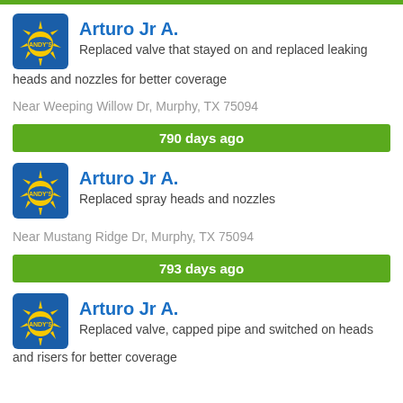Arturo Jr A. — Replaced valve that stayed on and replaced leaking heads and nozzles for better coverage — Near Weeping Willow Dr, Murphy, TX 75094
790 days ago
Arturo Jr A. — Replaced spray heads and nozzles — Near Mustang Ridge Dr, Murphy, TX 75094
793 days ago
Arturo Jr A. — Replaced valve, capped pipe and switched on heads and risers for better coverage